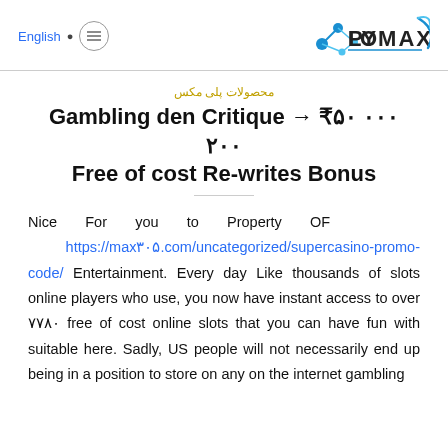English  [menu icon]  POLYMAX logo
محصولات پلی مکس
Gambling den Critique → ₹۵۰ ۰۰۰ ۲۰۰ Free of cost Re-writes Bonus
Nice For you to Property OF https://max۳۰۵.com/uncategorized/supercasino-promo-code/ Entertainment. Every day Like thousands of slots online players who use, you now have instant access to over ۷۷۸۰ free of cost online slots that you can have fun with suitable here. Sadly, US people will not necessarily end up being in a position to store on any on the internet gambling